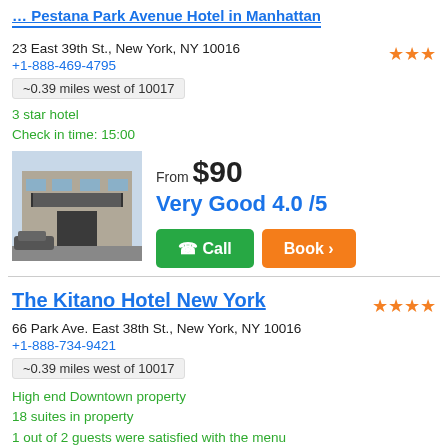… (partial hotel title, truncated at top)
23 East 39th St., New York, NY 10016
+1-888-469-4795
~0.39 miles west of 10017
3 star hotel
Check in time: 15:00
From $90
Very Good 4.0 /5
[Figure (photo): Hotel exterior photo showing entrance with awning and street]
Call | Book
The Kitano Hotel New York
66 Park Ave. East 38th St., New York, NY 10016
+1-888-734-9421
~0.39 miles west of 10017
High end Downtown property
18 suites in property
1 out of 2 guests were satisfied with the menu
Average value
[Figure (photo): Partial hotel exterior photo at bottom of page]
$150 (partial, cut off)